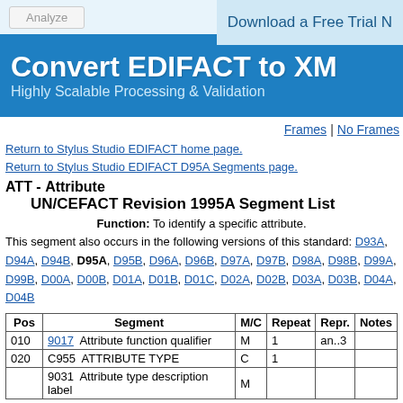[Figure (screenshot): Banner header with 'Convert EDIFACT to XML' title and 'Highly Scalable Processing & Validation' subtitle on blue background, with 'Download a Free Trial N...' and 'Analyze' button at top.]
Frames | No Frames
Return to Stylus Studio EDIFACT home page.
Return to Stylus Studio EDIFACT D95A Segments page.
ATT - Attribute
        UN/CEFACT Revision 1995A Segment List
Function: To identify a specific attribute.
This segment also occurs in the following versions of this standard: D93A, D94A, D94B, D95A, D95B, D96A, D96B, D97A, D97B, D98A, D98B, D99A, D99B, D00A, D00B, D01A, D01B, D01C, D02A, D02B, D03A, D03B, D04A, D04B
| Pos | Segment | M/C | Repeat | Repr. | Notes |
| --- | --- | --- | --- | --- | --- |
| 010 | 9017  Attribute function qualifier | M | 1 | an..3 |  |
| 020 | C955  ATTRIBUTE TYPE | C | 1 |  |  |
|  | 9031  Attribute type description label | M |  |  |  |